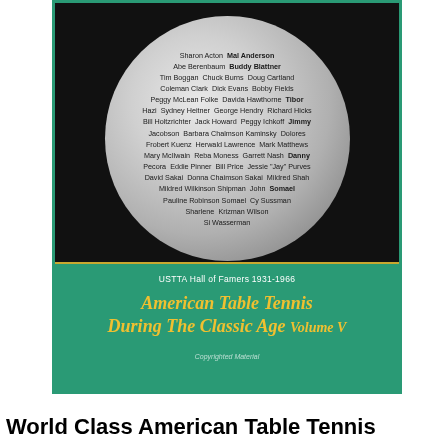[Figure (illustration): Book cover for 'American Table Tennis During The Classic Age Volume V', featuring a ping pong ball with names of USTTA Hall of Famers 1931-1966 printed on it, on a dark background with green and gold borders.]
World Class American Table Tennis